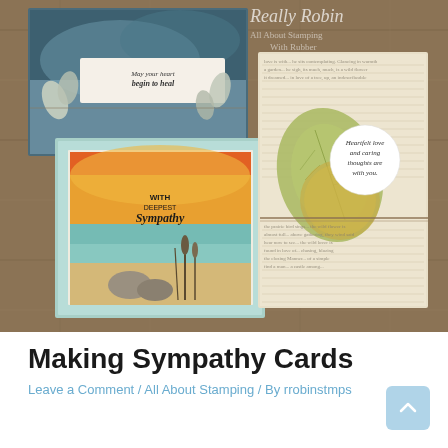[Figure (photo): Photo of three handmade sympathy cards displayed on a wooden background. Top left card is blue/grey with botanical leaf die cuts and a sentiment 'May your heart begin to heal'. Bottom left card has a watercolor orange and teal sunset scene with rocks and cattails, text 'With Deepest Sympathy'. Right card has a dictionary/text paper background with a large leaf and a circle sentiment 'Heartfelt love and caring thoughts are with you.' A watermarked logo 'Really Robin' appears at top. Cards by rrobinstmps.]
Making Sympathy Cards
Leave a Comment / All About Stamping / By rrobinstmps